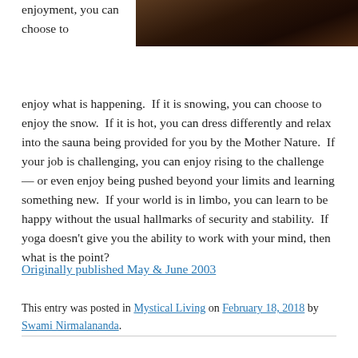[Figure (photo): Dark brown textured photo, appears to be soil or bark, partially visible at top right of page]
enjoyment, you can choose to
enjoy what is happening.  If it is snowing, you can choose to enjoy the snow.  If it is hot, you can dress differently and relax into the sauna being provided for you by the Mother Nature.  If your job is challenging, you can enjoy rising to the challenge — or even enjoy being pushed beyond your limits and learning something new.  If your world is in limbo, you can learn to be happy without the usual hallmarks of security and stability.  If yoga doesn't give you the ability to work with your mind, then what is the point?
Originally published May & June 2003
This entry was posted in Mystical Living on February 18, 2018 by Swami Nirmalananda.